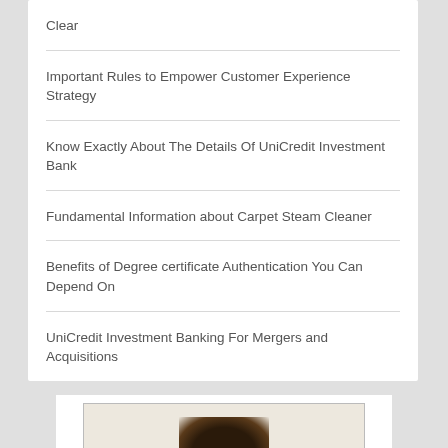Clear
Important Rules to Empower Customer Experience Strategy
Know Exactly About The Details Of UniCredit Investment Bank
Fundamental Information about Carpet Steam Cleaner
Benefits of Degree certificate Authentication You Can Depend On
UniCredit Investment Banking For Mergers and Acquisitions
[Figure (photo): Partial photo of a person visible at the bottom of the page]